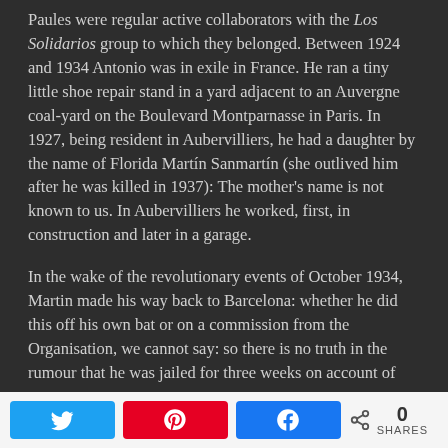Paules were regular active collaborators with the Los Solidarios group to which they belonged. Between 1924 and 1934 Antonio was in exile in France. He ran a tiny little shoe repair stand in a yard adjacent to an Auvergne coal-yard on the Boulevard Montparnasse in Paris. In 1927, being resident in Aubervilliers, he had a daughter by the name of Florida Martín Sanmartín (she outlived him after he was killed in 1937): The mother's name is not known to us. In Aubervilliers he worked, first, in construction and later in a garage.
In the wake of the revolutionary events of October 1934, Martin made his way back to Barcelona: whether he did this off his own bat or on a commission from the Organisation, we cannot say: so there is no truth in the rumour that he was jailed for three weeks on account of
0 SHARES